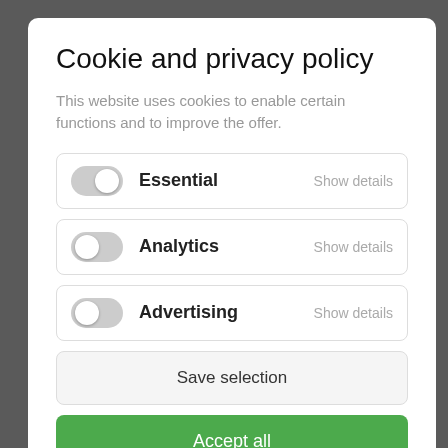Cookie and privacy policy
This website uses cookies to enable certain functions and to improve the offer.
Essential   Show details
Analytics   Show details
Advertising   Show details
Save selection
Accept all